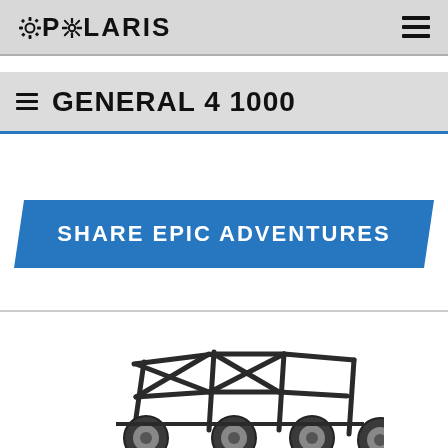POLARIS
≡ GENERAL 4 1000
SHARE EPIC ADVENTURES
[Figure (photo): Polaris General 4 1000 side-by-side off-road vehicle, black roll cage frame visible with large tires, partial view from front-right angle]